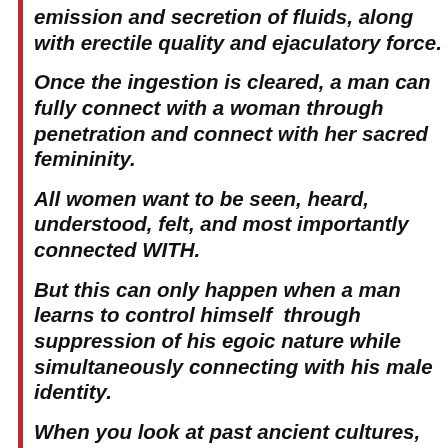emission and secretion of fluids, along with erectile quality and ejaculatory force.
Once the ingestion is cleared, a man can fully connect with a woman through penetration and connect with her sacred femininity.
All women want to be seen, heard, understood, felt, and most importantly connected WITH.
But this can only happen when a man learns to control himself through suppression of his egoic nature while simultaneously connecting with his male identity.
When you look at past ancient cultures, the joining of masculine and feminine forces is a holy act...